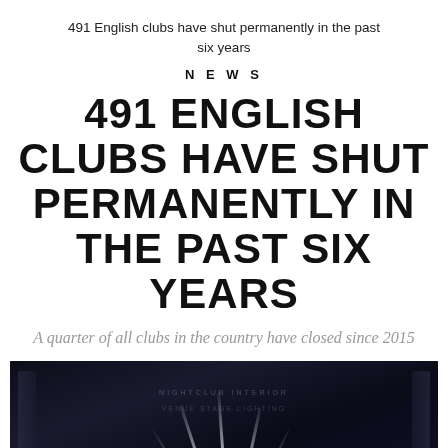491 English clubs have shut permanently in the past six years
NEWS
491 ENGLISH CLUBS HAVE SHUT PERMANENTLY IN THE PAST SIX YEARS
A quarter of all clubs in the country have closed since 2015
[Figure (photo): Dark interior of a nightclub/music venue with stage lighting beams shining from below, creating dramatic light rays against a dark background]